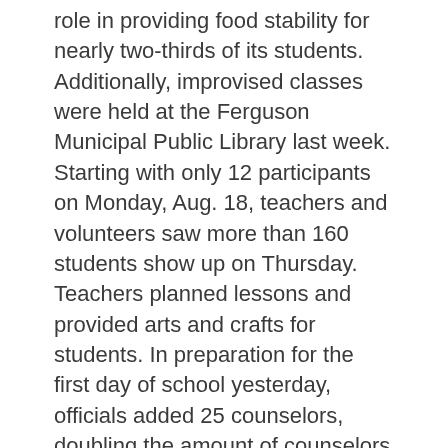role in providing food stability for nearly two-thirds of its students. Additionally, improvised classes were held at the Ferguson Municipal Public Library last week. Starting with only 12 participants on Monday, Aug. 18, teachers and volunteers saw more than 160 students show up on Thursday. Teachers planned lessons and provided arts and crafts for students. In preparation for the first day of school yesterday, officials added 25 counselors, doubling the amount of counselors originally hired to help students. Accordingly, the school district trained approximately 2,200 staff in crisis management. The program, called RISE Training '" response, intervention, support, and